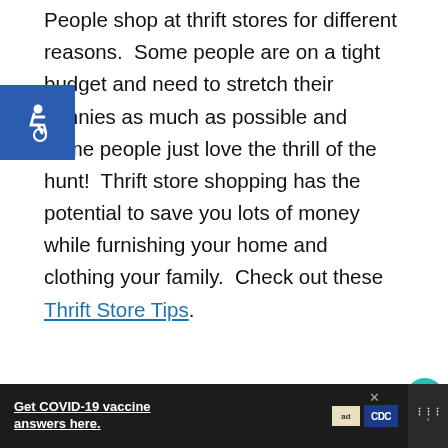People shop at thrift stores for different reasons.  Some people are on a tight budget and need to stretch their pennies as much as possible and some people just love the thrill of the hunt!  Thrift store shopping has the potential to save you lots of money while furnishing your home and clothing your family.  Check out these Thrift Store Tips.
[Figure (other): Accessibility wheelchair icon badge (blue square with white wheelchair symbol)]
[Figure (other): Heart/like button (teal circle with white heart icon) with count of 1]
[Figure (other): Share button (white circle with share/network icon)]
[Figure (other): Advertisement banner: TOGETHER, WE STAND with colorful geometric shapes. Includes WHAT'S NEXT arrow panel showing 'Save Up to $45 Off Disn...']
[Figure (other): Bottom advertisement bar (dark background): 'Get COVID-19 vaccine answers here.' with ad council and CDC logos, and WeatherBug icon]